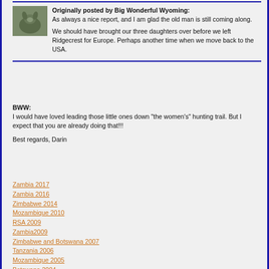[Figure (photo): Small thumbnail photo of an animal (possibly a ram or antelope) in a natural outdoor setting]
Originally posted by Big Wonderful Wyoming:
As always a nice report, and I am glad the old man is still coming along.

We should have brought our three daughters over before we left Ridgecrest for Europe. Perhaps another time when we move back to the USA.
BWW:
I would have loved leading those little ones down "the women's" hunting trail. But I expect that you are already doing that!!!

Best regards, Darin
Zambia 2017
Zambia 2016
Zimbabwe 2014
Mozambique 2010
RSA 2009
Zambia2009
Zimbabwe and Botswana 2007
Tanzania 2006
Mozambique 2005
Botswana 2004
Australia 2003
New Zealand 2002